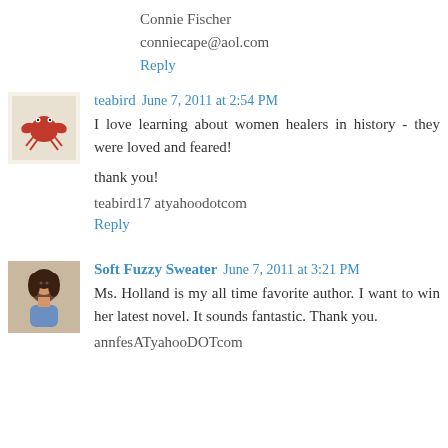Connie Fischer
conniecape@aol.com
Reply
[Figure (illustration): Small avatar image of a red crab/lobster illustration on a light background]
teabird June 7, 2011 at 2:54 PM
I love learning about women healers in history - they were loved and feared!

thank you!

teabird17 atyahoodotcom
Reply
[Figure (photo): Small avatar photo of a woman with dark curly hair]
Soft Fuzzy Sweater June 7, 2011 at 3:21 PM
Ms. Holland is my all time favorite author. I want to win her latest novel. It sounds fantastic. Thank you.
annfesATyahooDOTcom